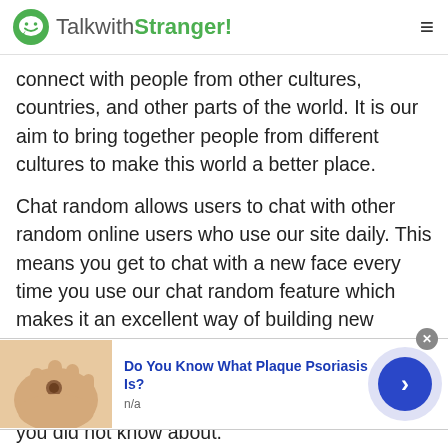TalkwithStranger!
connect with people from other cultures, countries, and other parts of the world. It is our aim to bring together people from different cultures to make this world a better place.
Chat random allows users to chat with other random online users who use our site daily. This means you get to chat with a new face every time you use our chat random feature which makes it an excellent way of building new connections with a stranger who might share the same interests as you do. You could even chat with them about new topics or issues that you did not know about.
[Figure (infographic): Advertisement banner: image of a hand with a skin lesion, title 'Do You Know What Plaque Psoriasis Is?', subtitle 'n/a', close button and arrow navigation button]